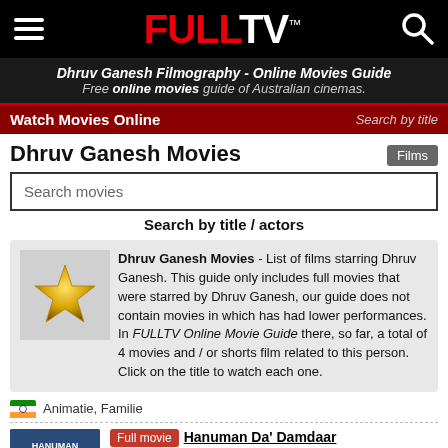FULLTV
Dhruv Ganesh Filmography - Online Movies Guide
Free online movies guide of Australian cinemas.
Watch Movies Online | Search by title
Dhruv Ganesh Movies
Films
Search movies
Search by title / actors
Dhruv Ganesh Movies - List of films starring Dhruv Ganesh. This guide only includes full movies that were starred by Dhruv Ganesh, our guide does not contain movies in which has had lower performances. In FULLTV Online Movie Guide there, so far, a total of 4 movies and / or shorts film related to this person. Click on the title to watch each one.
Animatie, Familie
Full movie  Hanuman Da' Damdaar
Movie information - 2017